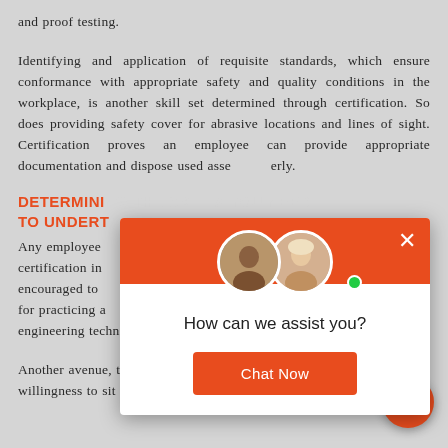and proof testing.
Identifying and application of requisite standards, which ensure conformance with appropriate safety and quality conditions in the workplace, is another skill set determined through certification. So does providing safety cover for abrasive locations and lines of sight. Certification proves an employee can provide appropriate documentation and dispose used assets properly.
DETERMINING ... TO UNDERT...
Any employee ... certification in ... encouraged to ... for practicing a ... engineering technician, within your fluid power section.
[Figure (screenshot): Chat popup widget with two agent avatars, 'How can we assist you?' heading, and a 'Chat Now' button on an orange-accented overlay.]
Another avenue, through which an employee shows a willingness to sit the examination associated with the